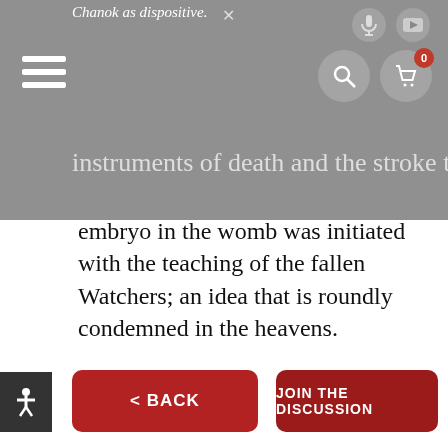Chanok as dispositive.
instruments of death and the stroke to the embryo in the womb was initiated with the teaching of the fallen Watchers; an idea that is roundly condemned in the heavens.
< BACK
JOIN THE DISCUSSION
SEARCH
Subscribe